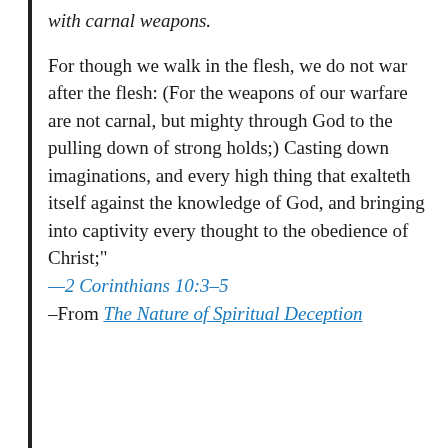with carnal weapons.
For though we walk in the flesh, we do not war after the flesh: (For the weapons of our warfare are not carnal, but mighty through God to the pulling down of strong holds;) Casting down imaginations, and every high thing that exalteth itself against the knowledge of God, and bringing into captivity every thought to the obedience of Christ;" —2 Corinthians 10:3–5 –From The Nature of Spiritual Deception